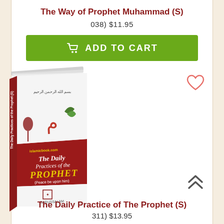The Way of Prophet Muhammad (S)
038) $11.95
[Figure (other): Green 'Add to Cart' button with shopping cart icon]
[Figure (photo): Book cover: 'The Daily Practices of the Prophet' with red and white cover design showing Arabic calligraphy and decorative elements]
The Daily Practice of The Prophet (S)
311) $13.95